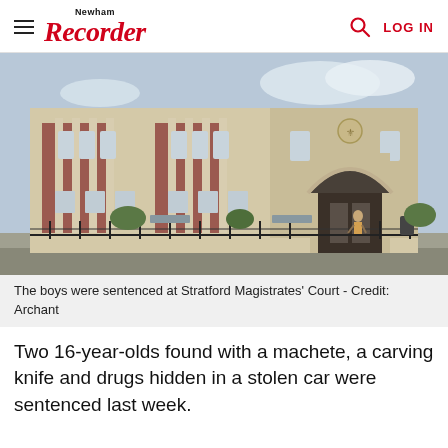Newham Recorder  LOG IN
[Figure (photo): Exterior photograph of Stratford Magistrates' Court building, a large Art Deco style building with brick and stone facade, arched entrance, with a person walking in front on the pavement.]
The boys were sentenced at Stratford Magistrates' Court - Credit: Archant
Two 16-year-olds found with a machete, a carving knife and drugs hidden in a stolen car were sentenced last week.